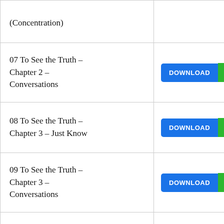| Title | Action |
| --- | --- |
| (Concentration) | DOWNLOAD ▶ |
| 07 To See the Truth - Chapter 2 - Conversations | DOWNLOAD ▶ |
| 08 To See the Truth - Chapter 3 - Just Know | DOWNLOAD ▶ |
| 09 To See the Truth - Chapter 3 - Conversations | DOWNLOAD ▶ |
| 10 To See the Truth - Chapter 4 - My Journey to Correct Meditation | DOWNLOAD ▶ |
| 11 To See the Truth - | DOWNLOAD ▶ |